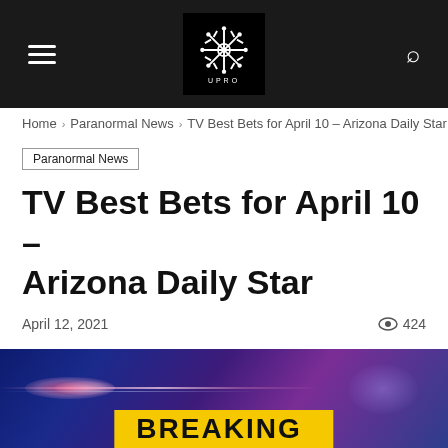UPRO — site header with hamburger menu, logo, and search icon
Home › Paranormal News › TV Best Bets for April 10 – Arizona Daily Star
Paranormal News
TV Best Bets for April 10 – Arizona Daily Star
April 12, 2021  424
[Figure (photo): Breaking news graphic with blue-purple glowing background and a yellow banner reading BREAKING at the bottom]